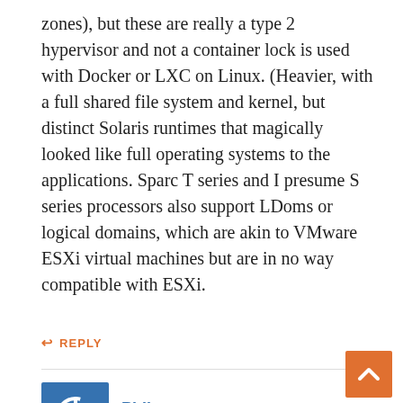zones), but these are really a type 2 hypervisor and not a container lock is used with Docker or LXC on Linux. (Heavier, with a full shared file system and kernel, but distinct Solaris runtimes that magically looked like full operating systems to the applications. Sparc T series and I presume S series processors also support LDoms or logical domains, which are akin to VMware ESXi virtual machines but are in no way compatible with ESXi.
↩ REPLY
[Figure (illustration): Blue square avatar with white power button icon]
Phil says: JULY 21, 2016 AT 3:53 AM
When does Oracle switch its Exadata platform from Xeon to Sparc? The SPARC version of Exadata is called